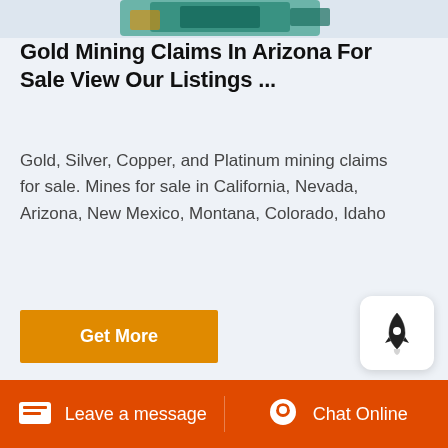[Figure (photo): Partial view of green mining/industrial equipment at top of page, cropped]
Gold Mining Claims In Arizona For Sale View Our Listings ...
Gold, Silver, Copper, and Platinum mining claims for sale. Mines for sale in California, Nevada, Arizona, New Mexico, Montana, Colorado, Idaho
[Figure (other): Orange 'Get More' button]
[Figure (other): White rounded square widget with rocket/launch icon]
[Figure (photo): Industrial warehouse/factory interior photo strip showing metal scaffolding and roofing]
Leave a message   Chat Online